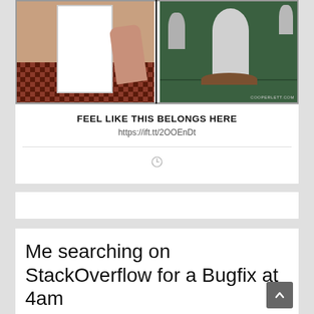[Figure (illustration): Two-panel meme comic: left panel shows someone holding a blank white phone screen, right panel shows a graveyard with a gravestone. Watermark: COOPERLETT.COM]
FEEL LIKE THIS BELONGS HERE
https://ift.tt/2OOEnDt
[Figure (other): Clock/timer icon]
Me searching on StackOverflow for a Bugfix at 4am
[Figure (photo): Partial image at bottom of page]